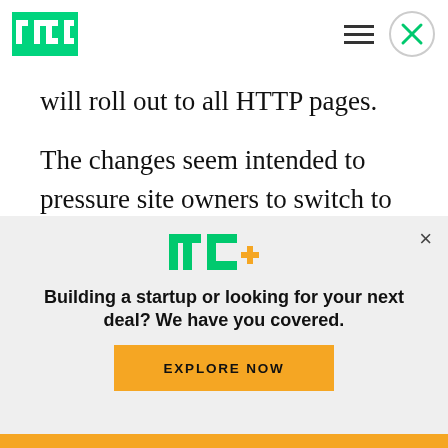TechCrunch logo and navigation
will roll out to all HTTP pages.
The changes seem intended to pressure site owners to switch to the more secure HTTPS, which encrypts data while in transit and helps prevent the site from being modified by a malicious user on the network. “Don’t wait to get started moving to
[Figure (logo): TechCrunch TC+ logo in green and yellow]
Building a startup or looking for your next deal? We have you covered.
EXPLORE NOW